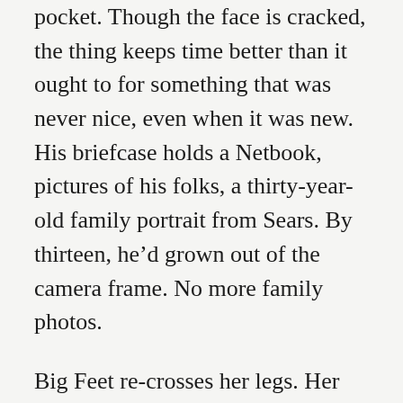pocket. Though the face is cracked, the thing keeps time better than it ought to for something that was never nice, even when it was new. His briefcase holds a Netbook, pictures of his folks, a thirty-year-old family portrait from Sears. By thirteen, he'd grown out of the camera frame. No more family photos.
Big Feet re-crosses her legs. Her pointed toe is a dart in his skin. She's rocking out to something that sounds vaguely Beyoncé. He can see her chin and nose in the glass, but the light diffuses as the plane rises through clouds, and her reflection disappears. He watches for her face to